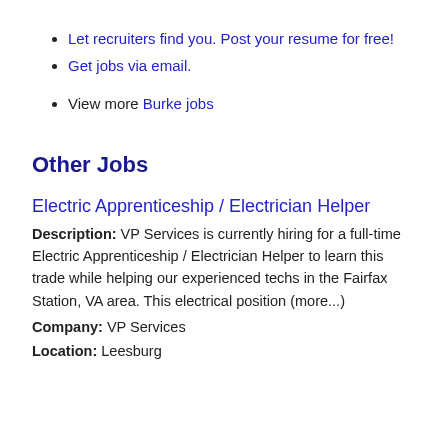Let recruiters find you. Post your resume for free!
Get jobs via email.
View more Burke jobs
Other Jobs
Electric Apprenticeship / Electrician Helper
Description: VP Services is currently hiring for a full-time Electric Apprenticeship / Electrician Helper to learn this trade while helping our experienced techs in the Fairfax Station, VA area. This electrical position (more...)
Company: VP Services
Location: Leesburg